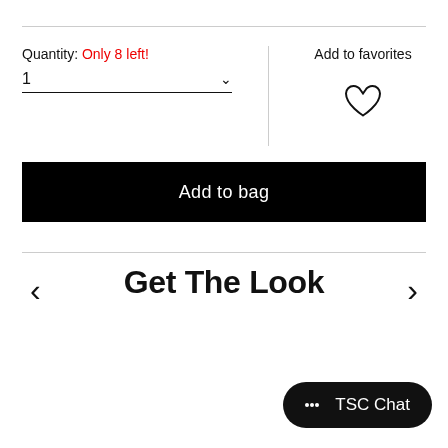Quantity: Only 8 left!
1
Add to favorites
Add to bag
Get The Look
TSC Chat